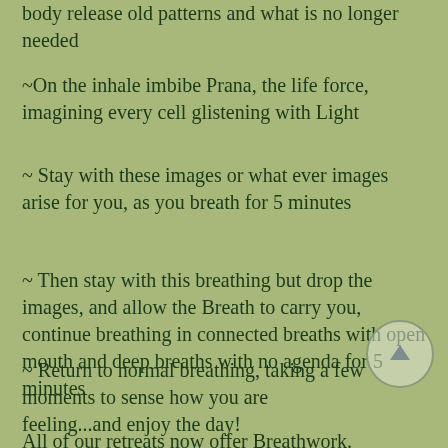body release old patterns and what is no longer needed
~On the inhale imbibe Prana, the life force, imagining every cell glistening with Light
~ Stay with these images or what ever images arise for you, as you breath for 5 minutes
~ Then stay with this breathing but drop the images, and allow the Breath to carry you, continue breathing in connected breaths with open mouth and deep breaths with no agenda for 5 minutes
~ Return to normal breathing, taking a few moments to sense how you are feeling...and enjoy the day!
All of our retreats now offer Breathwork.